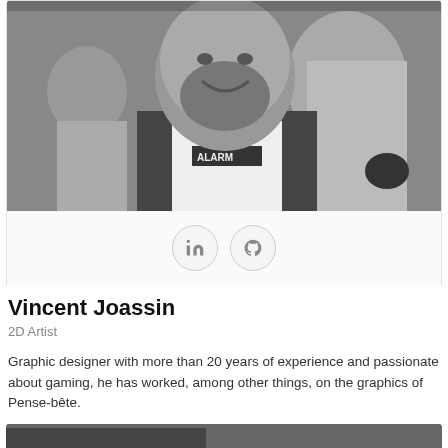[Figure (photo): Black and white photo of Vincent Joassin, a bearded man smiling, wearing a black and white shirt, with another person visible in the background]
[Figure (infographic): Two circular social media icon buttons: LinkedIn (in) and GitHub (cat icon)]
Vincent Joassin
2D Artist
Graphic designer with more than 20 years of experience and passionate about gaming, he has worked, among other things, on the graphics of Pense-bête.
[Figure (photo): Partial black and white photo visible at the bottom of the page]